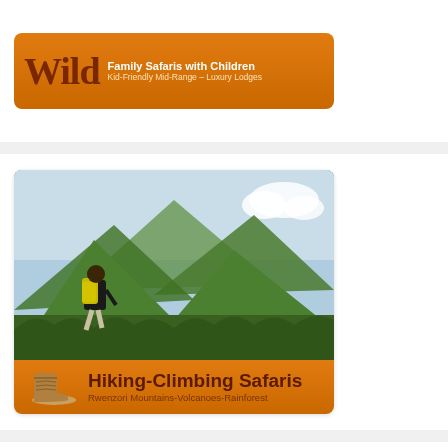[Figure (logo): Wild Family Safaris with Children banner - orange/brown gradient with Wild logo text and taglines: 'Family Safaris with Children', 'Kid-Friendly Mid-Range - Luxury Lodges']
[Figure (photo): Hiking-Climbing Safaris advertisement banner showing a hiker with yellow backpack on green mountain terrain (Rwenzori Mountains), with orange banner reading 'Hiking-Climbing Safaris, Rwenzori Mountains-Volcanoes-Rainforest' and a hiking boot icon]
Connect with us on Facebook